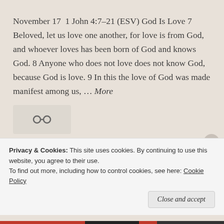November 17  1 John 4:7–21 (ESV) God Is Love 7 Beloved, let us love one another, for love is from God, and whoever loves has been born of God and knows God. 8 Anyone who does not love does not know God, because God is love. 9 In this the love of God was made manifest among us, … More
[Figure (other): A chain link / share icon in a light beige rounded rectangle]
November 17  John 11:45–57
Privacy & Cookies: This site uses cookies. By continuing to use this website, you agree to their use.
To find out more, including how to control cookies, see here: Cookie Policy
Close and accept